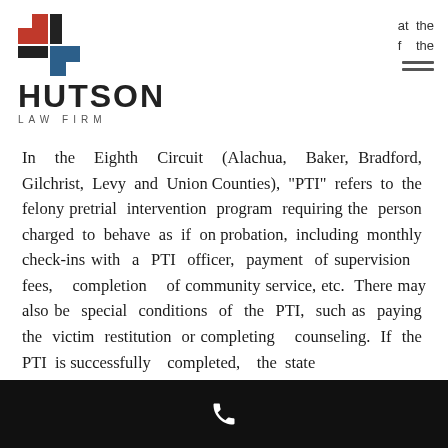[Figure (logo): Hutson Law Firm logo with red and blue geometric icon and bold HUTSON text above LAW FIRM]
at the f the
In the Eighth Circuit (Alachua, Baker, Bradford, Gilchrist, Levy and Union Counties), "PTI" refers to the felony pretrial intervention program requiring the person charged to behave as if on probation, including monthly check-ins with a PTI officer, payment of supervision fees, completion of community service, etc. There may also be special conditions of the PTI, such as paying the victim restitution or completing counseling. If the PTI is successfully completed, the state
[Figure (other): Black bottom navigation bar with white phone icon]